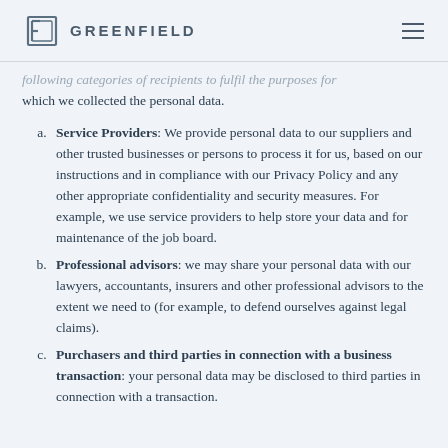GREENFIELD
following categories of recipients to fulfil the purposes for which we collected the personal data.
Service Providers: We provide personal data to our suppliers and other trusted businesses or persons to process it for us, based on our instructions and in compliance with our Privacy Policy and any other appropriate confidentiality and security measures. For example, we use service providers to help store your data and for maintenance of the job board.
Professional advisors: we may share your personal data with our lawyers, accountants, insurers and other professional advisors to the extent we need to (for example, to defend ourselves against legal claims).
Purchasers and third parties in connection with a business transaction: your personal data may be disclosed to third parties in connection with a transaction.